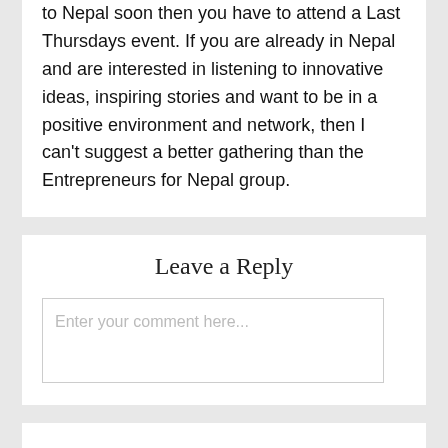to Nepal soon then you have to attend a Last Thursdays event. If you are already in Nepal and are interested in listening to innovative ideas, inspiring stories and want to be in a positive environment and network, then I can't suggest a better gathering than the Entrepreneurs for Nepal group.
Leave a Reply
Enter your comment here...
Subscribe to receive insights on our workshops, blogs, and other important news.